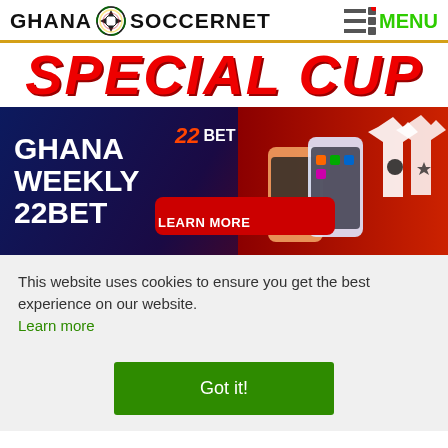GHANA SOCCERNET MENU
SPECIAL CUP
[Figure (photo): 22BET Ghana Weekly advertisement banner with phones, jerseys, and Learn More button]
This website uses cookies to ensure you get the best experience on our website. Learn more
Got it!